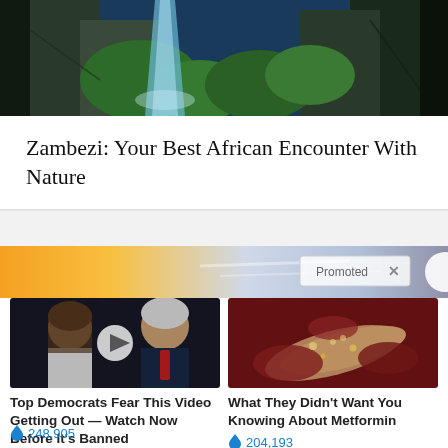[Figure (photo): Aerial view of the Zambezi River with waterfall, rocky cliffs, and lush green vegetation]
Zambezi: Your Best African Encounter With Nature
[Figure (infographic): Promoted content banner with warm sunset sky background and 'Promoted X' label]
[Figure (photo): Video thumbnail showing political figures with play button overlay]
Top Democrats Fear This Video Getting Out — Watch Now Before It's Banned
248,905
[Figure (photo): Medical illustration of pancreas organ]
What They Didn't Want You Knowing About Metformin
204,193